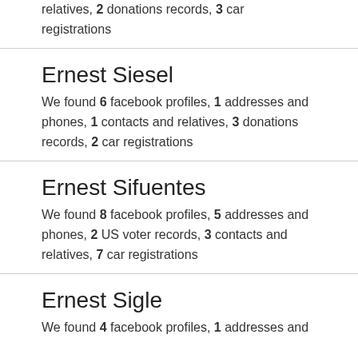relatives, 2 donations records, 3 car registrations
Ernest Siesel
We found 6 facebook profiles, 1 addresses and phones, 1 contacts and relatives, 3 donations records, 2 car registrations
Ernest Sifuentes
We found 8 facebook profiles, 5 addresses and phones, 2 US voter records, 3 contacts and relatives, 7 car registrations
Ernest Sigle
We found 4 facebook profiles, 1 addresses and